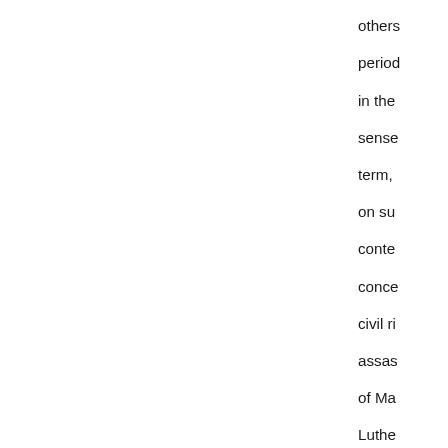others period in the sense term, on su conte conce civil ri assas of Ma Luthe and R Kenne the wa Euro Vietnam Iraq. W provid introd each s comm the w